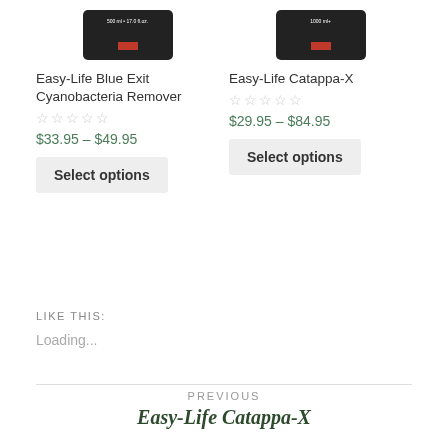[Figure (photo): Product image of Easy-Life Blue Exit Cyanobacteria Remover bottle in black packaging with red strip]
[Figure (photo): Product image of Easy-Life Catappa-X bottle in black packaging with red strip]
Easy-Life Blue Exit Cyanobacteria Remover
Easy-Life Catappa-X
$33.95 – $49.95
$29.95 – $84.95
Select options
Select options
LIKE THIS:
Loading...
PREVIOUS
Easy-Life Catappa-X